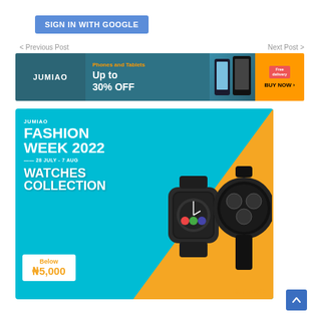[Figure (screenshot): Blue 'SIGN IN WITH GOOGLE' button]
< Previous Post
Next Post >
[Figure (infographic): Jumia advertisement banner: Phones and Tablets Up to 30% OFF - BUY NOW]
[Figure (infographic): Jumia Fashion Week 2022, 28 July - 7 Aug, Watches Collection, Below ₦5,000 - BUY NOW]